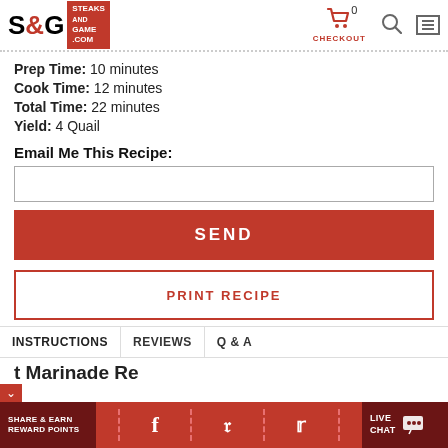S&G Steaks and Game .com — CHECKOUT
Prep Time: 10 minutes
Cook Time: 12 minutes
Total Time: 22 minutes
Yield: 4 Quail
Email Me This Recipe:
SEND
PRINT RECIPE
INSTRUCTIONS | REVIEWS | Q & A
t Marinade Re
SHARE & EARN REWARD POINTS — LIVE CHAT